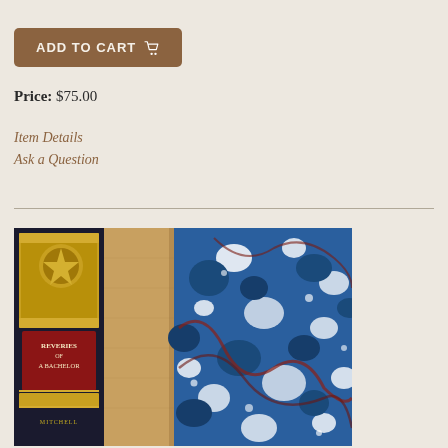ADD TO CART 🛒
Price: $75.00
Item Details
Ask a Question
[Figure (photo): Close-up photograph of an antique book with gold-embossed leather spine reading 'REVERIES OF A BACHELOR' and marbled paper covering in blue, white, and red patterns]